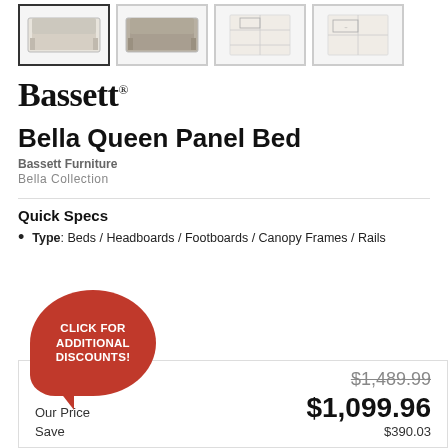[Figure (photo): Four product thumbnail images of the Bella Queen Panel Bed from different angles]
[Figure (logo): Bassett brand logo in bold serif font with registered trademark symbol]
Bella Queen Panel Bed
Bassett Furniture
Bella Collection
Quick Specs
Type: Beds / Headboards / Footboards / Canopy Frames / Rails
[Figure (infographic): Red circular speech bubble with text CLICK FOR ADDITIONAL DISCOUNTS!]
| Label | Price |
| --- | --- |
|  | $1,489.99 |
| Our Price | $1,099.96 |
| Save | $390.03 |